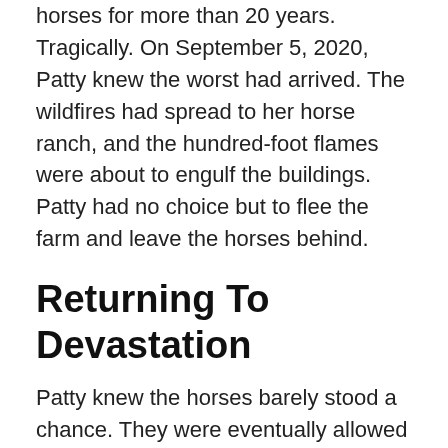horses for more than 20 years. Tragically. On September 5, 2020, Patty knew the worst had arrived. The wildfires had spread to her horse ranch, and the hundred-foot flames were about to engulf the buildings. Patty had no choice but to flee the farm and leave the horses behind.
Returning To Devastation
Patty knew the horses barely stood a chance. They were eventually allowed to return to the area, but it wasn't good. Everything had burned to the ground. The shed containing saddles and medication for the horses was gone, and all of her equipment for the